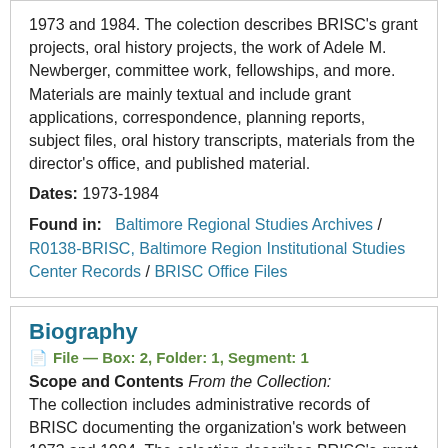1973 and 1984. The colection describes BRISC's grant projects, oral history projects, the work of Adele M. Newberger, committee work, fellowships, and more. Materials are mainly textual and include grant applications, correspondence, planning reports, subject files, oral history transcripts, materials from the director's office, and published material.
Dates: 1973-1984
Found in: Baltimore Regional Studies Archives / R0138-BRISC, Baltimore Region Institutional Studies Center Records / BRISC Office Files
Biography
File — Box: 2, Folder: 1, Segment: 1
Scope and Contents From the Collection: The collection includes administrative records of BRISC documenting the organization's work between 1973 and 1984. The colection describes BRISC's grant projects, oral history projects, the work of Adele M. Newberger, committee work, fellowships, and more. Materials are mainly textual and include grant